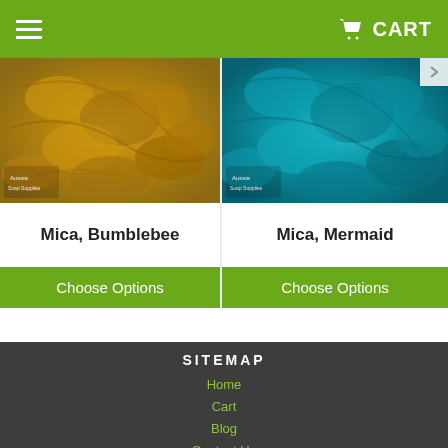CART
[Figure (photo): Close-up of golden yellow mica powder (Bumblebee)]
Mica, Bumblebee
Choose Options
[Figure (photo): Close-up of teal blue mica powder (Mermaid)]
Mica, Mermaid
Choose Options
SITEMAP
Home
Cart
Blog
Contact Us
Our Policies